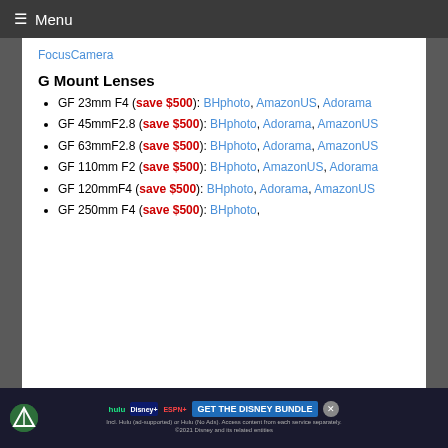≡ Menu
FocusCamera
G Mount Lenses
GF 23mm F4 (save $500): BHphoto, AmazonUS, Adorama
GF 45mmF2.8 (save $500): BHphoto, Adorama, AmazonUS
GF 63mmF2.8 (save $500): BHphoto, Adorama, AmazonUS
GF 110mm F2 (save $500): BHphoto, AmazonUS, Adorama
GF 120mmF4 (save $500): BHphoto, Adorama, AmazonUS
GF 250mm F4 (save $500): BHphoto, Adorama, AmazonUS
[Figure (screenshot): Disney Bundle advertisement banner with Hulu, Disney+, ESPN+ logos and GET THE DISNEY BUNDLE call to action]